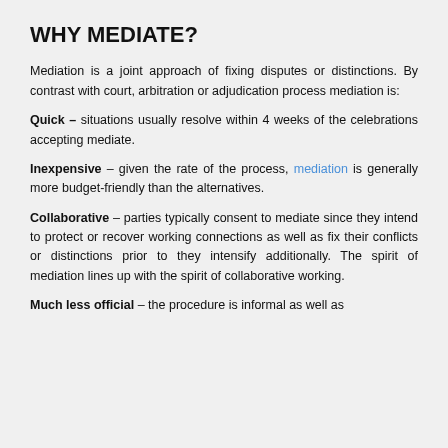WHY MEDIATE?
Mediation is a joint approach of fixing disputes or distinctions. By contrast with court, arbitration or adjudication process mediation is:
Quick – situations usually resolve within 4 weeks of the celebrations accepting mediate.
Inexpensive – given the rate of the process, mediation is generally more budget-friendly than the alternatives.
Collaborative – parties typically consent to mediate since they intend to protect or recover working connections as well as fix their conflicts or distinctions prior to they intensify additionally. The spirit of mediation lines up with the spirit of collaborative working.
Much less official – the procedure is informal as well as